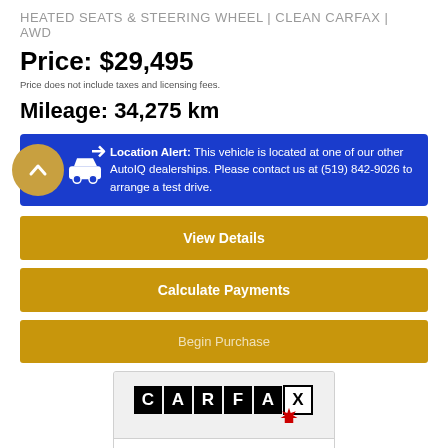HEATED SEATS & STEERING WHEEL | CLEAN CARFAX | AWD
Price: $29,495
Price does not include taxes and licensing fees.
Mileage: 34,275 km
Location Alert: This vehicle is located at one of our other AutoIQ dealerships. Please contact us at (519) 842-9026 to arrange a test drive.
View Details
Calculate Payments
Begin Purchase
[Figure (logo): CARFAX Canada logo with maple leaf]
VIEW REPORT